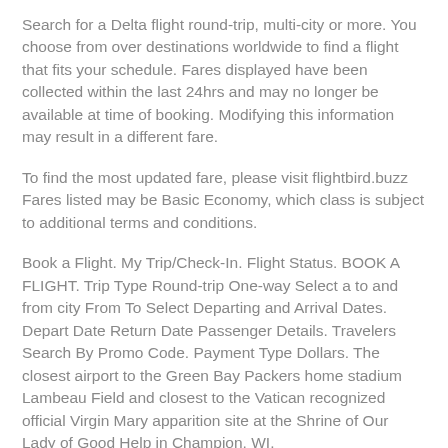Search for a Delta flight round-trip, multi-city or more. You choose from over destinations worldwide to find a flight that fits your schedule. Fares displayed have been collected within the last 24hrs and may no longer be available at time of booking. Modifying this information may result in a different fare.
To find the most updated fare, please visit flightbird.buzz Fares listed may be Basic Economy, which class is subject to additional terms and conditions.
Book a Flight. My Trip/Check-In. Flight Status. BOOK A FLIGHT. Trip Type Round-trip One-way Select a to and from city From To Select Departing and Arrival Dates. Depart Date Return Date Passenger Details. Travelers Search By Promo Code. Payment Type Dollars. The closest airport to the Green Bay Packers home stadium Lambeau Field and closest to the Vatican recognized official Virgin Mary apparition site at the Shrine of Our Lady of Good Help in Champion, WI.
Search Fly GRB to book flights, find airline information and airport departure and arrival flight information. Call For Unpublished Cheap Flight Deals. Book flight ticket from FLG to GRB by so...